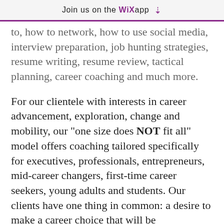Join us on the WiX app
to, how to network, how to use social media, interview preparation, job hunting strategies, resume writing, resume review, tactical planning, career coaching and much more.
For our clientele with interests in career advancement, exploration, change and mobility, our "one size does NOT fit all" model offers coaching tailored specifically for executives, professionals, entrepreneurs, mid-career changers, first-time career seekers, young adults and students. Our clients have one thing in common: a desire to make a career choice that will be